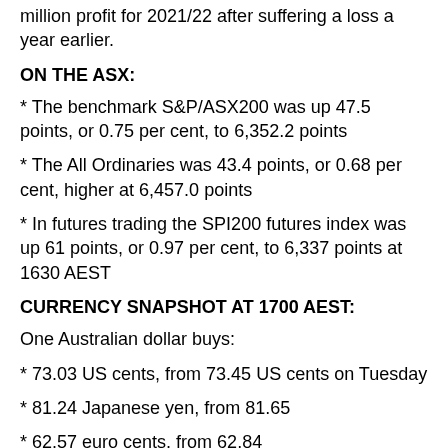million profit for 2021/22 after suffering a loss a year earlier.
ON THE ASX:
* The benchmark S&P/ASX200 was up 47.5 points, or 0.75 per cent, to 6,352.2 points
* The All Ordinaries was 43.4 points, or 0.68 per cent, higher at 6,457.0 points
* In futures trading the SPI200 futures index was up 61 points, or 0.97 per cent, to 6,337 points at 1630 AEST
CURRENCY SNAPSHOT AT 1700 AEST:
One Australian dollar buys:
* 73.03 US cents, from 73.45 US cents on Tuesday
* 81.24 Japanese yen, from 81.65
* 62.57 euro cents, from 62.84